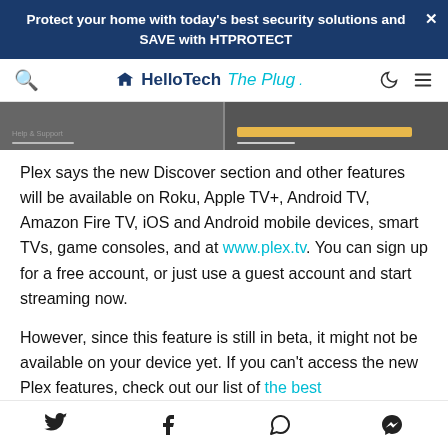Protect your home with today's best security solutions and SAVE with HTPROTECT
[Figure (screenshot): HelloTech The Plug navigation bar with search icon, logo, dark mode toggle, and hamburger menu]
[Figure (screenshot): Partial screenshot strip showing two panels: left panel with small text and underline bar, right panel with yellow/gold button bar]
Plex says the new Discover section and other features will be available on Roku, Apple TV+, Android TV, Amazon Fire TV, iOS and Android mobile devices, smart TVs, game consoles, and at www.plex.tv. You can sign up for a free account, or just use a guest account and start streaming now.
However, since this feature is still in beta, it might not be available on your device yet. If you can't access the new Plex features, check out our list of the best
Social share icons: Twitter, Facebook, WhatsApp, Messenger